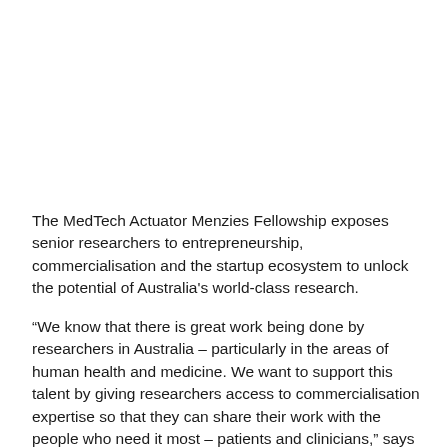The MedTech Actuator Menzies Fellowship exposes senior researchers to entrepreneurship, commercialisation and the startup ecosystem to unlock the potential of Australia's world-class research.
“We know that there is great work being done by researchers in Australia – particularly in the areas of human health and medicine. We want to support this talent by giving researchers access to commercialisation expertise so that they can share their work with the people who need it most – patients and clinicians,” says MedTech Actuator CEO, Dr Buzz